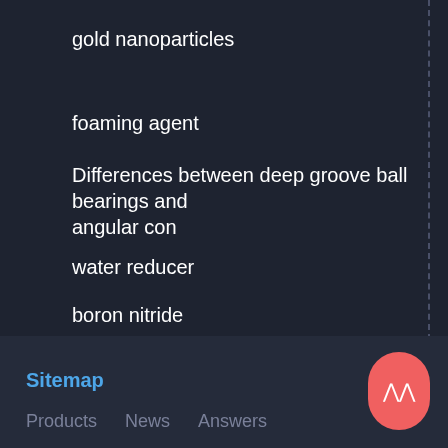gold nanoparticles
foaming agent
Differences between deep groove ball bearings and angular con
water reducer
boron nitride
Concrete strength and shrinkage reducer
Synthetic Graphite
cement foaming agents
Sitemap  Products  News  Answers